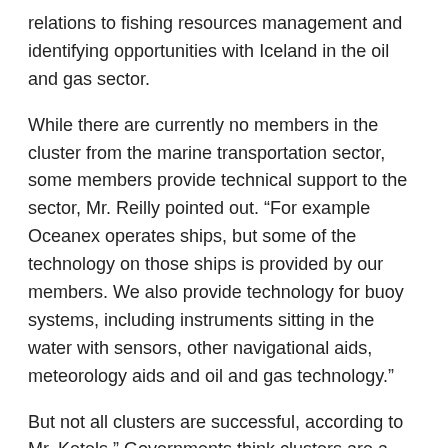relations to fishing resources management and identifying opportunities with Iceland in the oil and gas sector.
While there are currently no members in the cluster from the marine transportation sector, some members provide technical support to the sector, Mr. Reilly pointed out. “For example Oceanex operates ships, but some of the technology on those ships is provided by our members. We also provide technology for buoy systems, including instruments sitting in the water with sensors, other navigational aids, meteorology aids and oil and gas technology.”
But not all clusters are successful, according to Mr. Ketels.” Governments think clusters are a good idea and throw money at them. If there is a strong initiative but no industry support, it doesn’t always work. People realize you need some kind of platform.” He cites the positive example of the